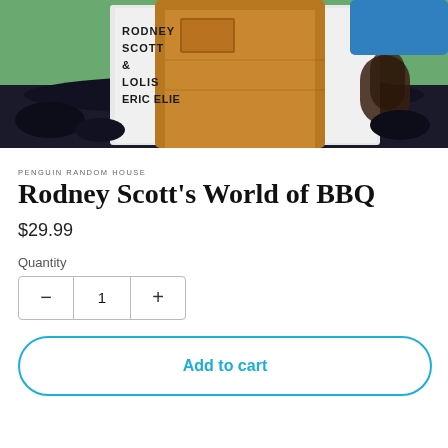[Figure (photo): Book cover photo of Rodney Scott's World of BBQ, showing a person in a brown canvas apron with text 'RODNEY SCOTT & LOLIS ERIC ELIE' on a white background, set against dark charcoal/coal]
PENGUIN RANDOM HOUSE
Rodney Scott's World of BBQ
$29.99
Quantity
1
Add to cart